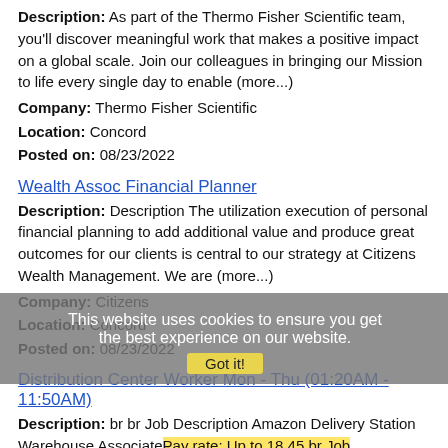Description: As part of the Thermo Fisher Scientific team, you'll discover meaningful work that makes a positive impact on a global scale. Join our colleagues in bringing our Mission to life every single day to enable (more...)
Company: Thermo Fisher Scientific
Location: Concord
Posted on: 08/23/2022
Wealth Assoc Financial Planner
Description: Description The utilization execution of personal financial planning to add additional value and produce great outcomes for our clients is central to our strategy at Citizens Wealth Management. We are (more...)
Company: Citizens
Location: Concord
Posted on: 08/23/2022
Distribution Center Worker Mon - Thu (01:20AM - 11:50AM)
Description: br br Job Description Amazon Delivery Station Warehouse AssociatePay rate: Up to 18.45 br Job OverviewYou'll be part of the dedicated Amazon team at the delivery station - the last stop before (more...)
Company: Amazon